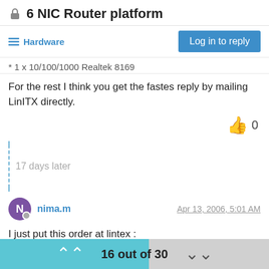6 NIC Router platform
Hardware
* 1 x 10/100/1000 Realtek 8169
For the rest I think you get the fastes reply by mailing LinITX directly.
17 days later
nima.m  Apr 13, 2006, 5:01 AM
I just put this order at lintex :
–------
1. 1 x FX5620 6 NIC Firewall/Router Platform [FX5620]
16 out of 30